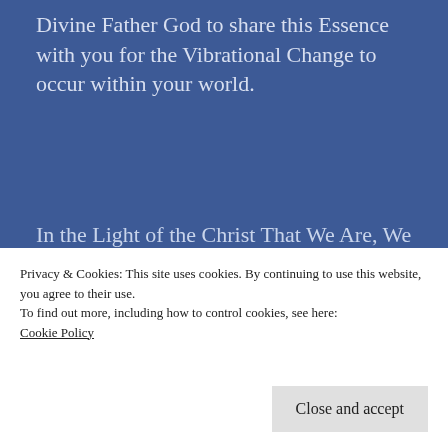Divine Father God to share this Essence with you for the Vibrational Change to occur within your world.
In the Light of the Christ That We Are, We Are One.
purchase the MP3 download of any of our calls
Privacy & Cookies: This site uses cookies. By continuing to use this website, you agree to their use.
To find out more, including how to control cookies, see here:
Cookie Policy
Close and accept